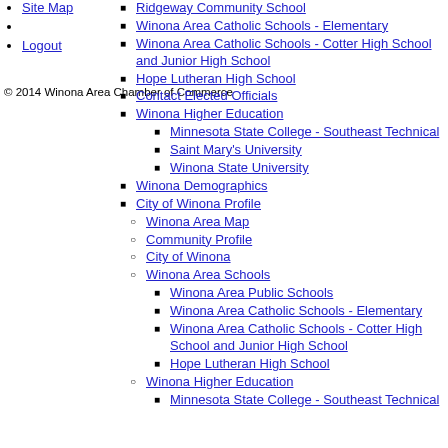Site Map
Logout
© 2014 Winona Area Chamber of Commerce
Ridgeway Community School
Winona Area Catholic Schools - Elementary
Winona Area Catholic Schools - Cotter High School and Junior High School
Hope Lutheran High School
Contact Elected Officials
Winona Higher Education
Minnesota State College - Southeast Technical
Saint Mary's University
Winona State University
Winona Demographics
City of Winona Profile
Winona Area Map
Community Profile
City of Winona
Winona Area Schools
Winona Area Public Schools
Winona Area Catholic Schools - Elementary
Winona Area Catholic Schools - Cotter High School and Junior High School
Hope Lutheran High School
Winona Higher Education
Minnesota State College - Southeast Technical